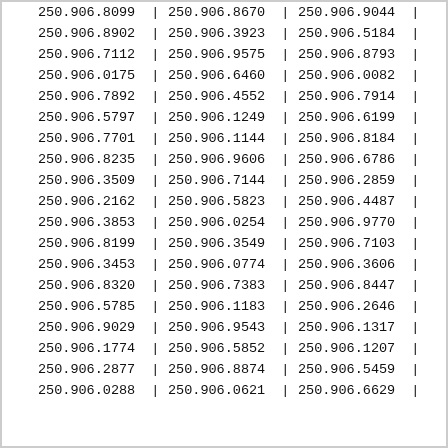| 250.906.8099 | | | 250.906.8670 | | | 250.906.9044 | | |
| 250.906.8902 | | | 250.906.3923 | | | 250.906.5184 | | |
| 250.906.7112 | | | 250.906.9575 | | | 250.906.8793 | | |
| 250.906.0175 | | | 250.906.6460 | | | 250.906.0082 | | |
| 250.906.7892 | | | 250.906.4552 | | | 250.906.7914 | | |
| 250.906.5797 | | | 250.906.1249 | | | 250.906.6199 | | |
| 250.906.7701 | | | 250.906.1144 | | | 250.906.8184 | | |
| 250.906.8235 | | | 250.906.9606 | | | 250.906.6786 | | |
| 250.906.3509 | | | 250.906.7144 | | | 250.906.2859 | | |
| 250.906.2162 | | | 250.906.5823 | | | 250.906.4487 | | |
| 250.906.3853 | | | 250.906.0254 | | | 250.906.9770 | | |
| 250.906.8199 | | | 250.906.3549 | | | 250.906.7103 | | |
| 250.906.3453 | | | 250.906.0774 | | | 250.906.3606 | | |
| 250.906.8320 | | | 250.906.7383 | | | 250.906.8447 | | |
| 250.906.5785 | | | 250.906.1183 | | | 250.906.2646 | | |
| 250.906.9029 | | | 250.906.9543 | | | 250.906.1317 | | |
| 250.906.1774 | | | 250.906.5852 | | | 250.906.1207 | | |
| 250.906.2877 | | | 250.906.8874 | | | 250.906.5459 | | |
| 250.906.0288 | | | 250.906.0621 | | | 250.906.6629 | | |